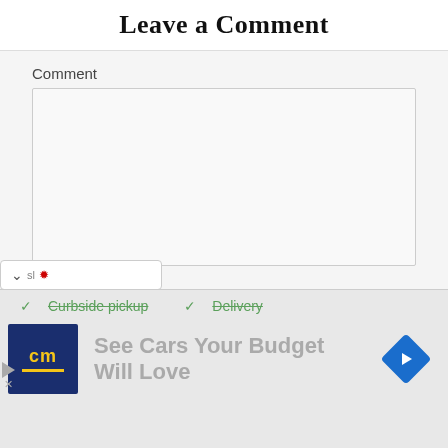Leave a Comment
Comment
[Figure (screenshot): Empty comment textarea input field]
Name *
[Figure (screenshot): Empty name text input field]
[Figure (screenshot): Dropdown chevron with red marker indicator]
✓ Curbside pickup  ✓ Delivery
[Figure (screenshot): Advertisement banner: cm logo, See Cars Your Budget Will Love, blue arrow diamond navigation icon]